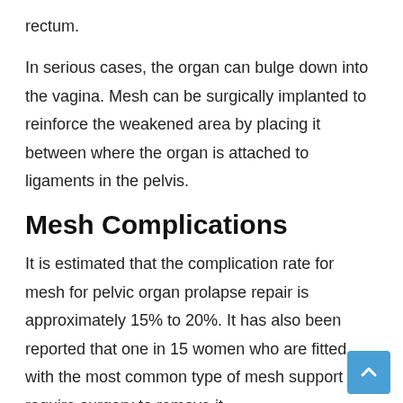rectum.
In serious cases, the organ can bulge down into the vagina. Mesh can be surgically implanted to reinforce the weakened area by placing it between where the organ is attached to ligaments in the pelvis.
Mesh Complications
It is estimated that the complication rate for mesh for pelvic organ prolapse repair is approximately 15% to 20%. It has also been reported that one in 15 women who are fitted with the most common type of mesh support will require surgery to remove it.